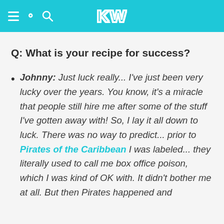KW
Q: What is your recipe for success?
Johnny: Just luck really... I've just been very lucky over the years. You know, it's a miracle that people still hire me after some of the stuff I've gotten away with! So, I lay it all down to luck. There was no way to predict... prior to Pirates of the Caribbean I was labeled... they literally used to call me box office poison, which I was kind of OK with. It didn't bother me at all. But then Pirates happened and